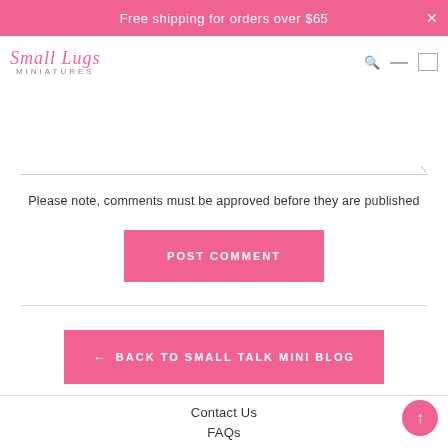Free shipping for orders over $65
[Figure (logo): Small Talk Miniatures cursive logo with search, menu, and cart icons]
Please note, comments must be approved before they are published
POST COMMENT
← BACK TO SMALL TALK MINI BLOG
Contact Us
FAQs
Small Talk Mini Blog